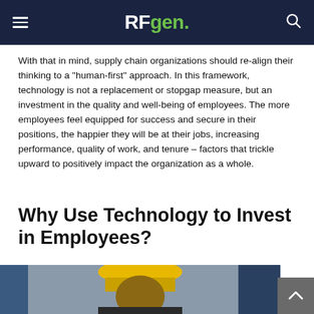RFgen
With that in mind, supply chain organizations should re-align their thinking to a “human-first” approach. In this framework, technology is not a replacement or stopgap measure, but an investment in the quality and well-being of employees. The more employees feel equipped for success and secure in their positions, the happier they will be at their jobs, increasing performance, quality of work, and tenure – factors that trickle upward to positively impact the organization as a whole.
Why Use Technology to Invest in Employees?
[Figure (photo): A worker wearing a yellow hard hat in an industrial/warehouse setting, looking upward, with blue structural beams visible in the background.]